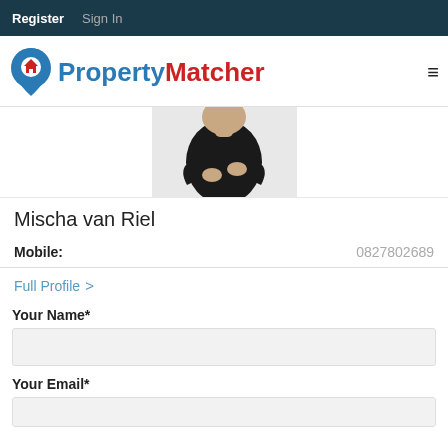Register  Sign In
[Figure (logo): PropertyMatcher logo with blue map pin icon containing red house, text 'Property' in blue and 'Matcher' in red]
[Figure (photo): Person in dark/black clothing with arms crossed, upper body visible, cropped profile photo]
Mischa van Riel
Mobile:  0827802689
Full Profile >
Your Name*
Your Email*